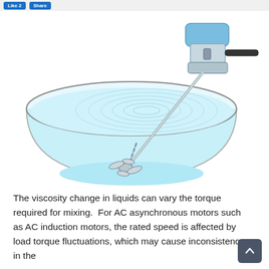[Figure (illustration): Illustration of an industrial immersion mixer/agitator inserted diagonally into a bowl/bucket filled with light blue liquid. The motor unit (blue/grey) is at the top right, with a handle extending to the right. A long shaft extends diagonally down into the liquid-filled container, ending in a propeller/impeller at the bottom. Concentric ripple circles are visible on the liquid surface around the shaft entry point.]
The viscosity change in liquids can vary the torque required for mixing.  For AC asynchronous motors such as AC induction motors, the rated speed is affected by load torque fluctuations, which may cause inconsistency in the